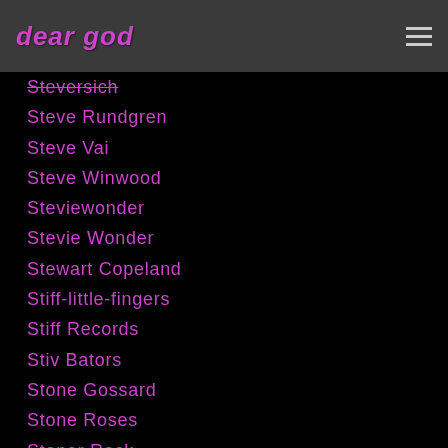dear god
Steversich
Steve Rundgren
Steve Vai
Steve Winwood
Steviewonder
Stevie Wonder
Stewart Copeland
Stiff-little-fingers
Stiff Records
Stiv Bators
Stone Gossard
Stone Roses
Stoner Rock
Stones Throw Records
Stone Temple Pilots
Stone-temple-pilots
Stooges